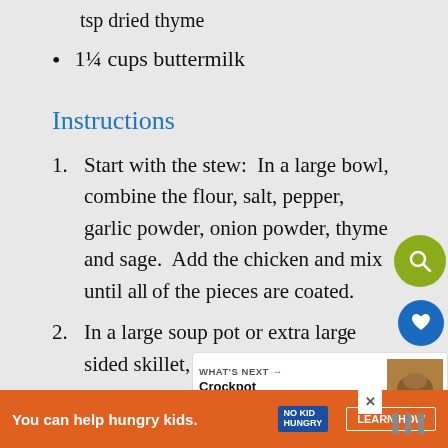tsp dried thyme
1¼ cups buttermilk
Instructions
1. Start with the stew:  In a large bowl, combine the flour, salt, pepper, garlic powder, onion powder, thyme and sage.  Add the chicken and mix until all of the pieces are coated.
2. In a large soup pot or extra large sided skillet, warm 1 tbsp of the oil
WHAT'S NEXT → Crockpot Cream of...
You can help hungry kids.  NO KID HUNGRY  LEARN HOW